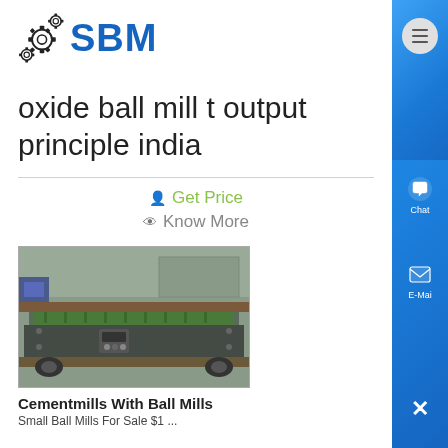[Figure (logo): SBM company logo with gear icon and blue bold SBM text]
oxide ball mill t output principle india
Get Price
Know More
[Figure (photo): Industrial cement/ball mill machine photograph]
Cementmills With Ball Mills
Small Ball Mills For Sale $1 ...